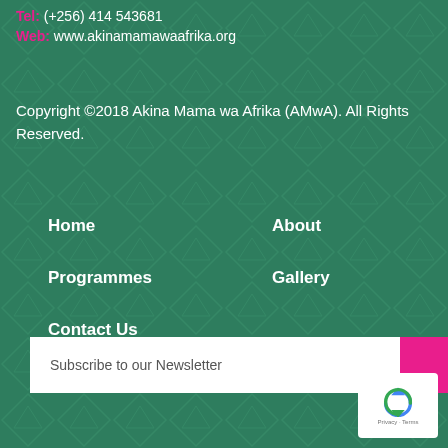Tel: (+256) 414 543681
Web: www.akinamamawaafrika.org
Copyright ©2018 Akina Mama wa Afrika (AMwA). All Rights Reserved.
Home
About
Programmes
Gallery
Contact Us
Subscribe to our Newsletter
Subscribe